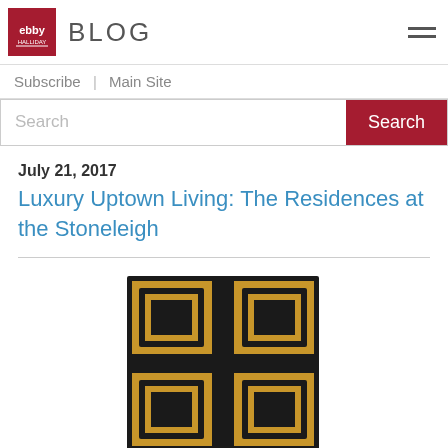BLOG
Subscribe | Main Site
Search
July 21, 2017
Luxury Uptown Living: The Residences at the Stoneleigh
[Figure (logo): Residences at the Stoneleigh logo: a gold and black square geometric emblem with four sections, and the wordmark 'RESIDENCES · STONELEIGH' in gold below.]